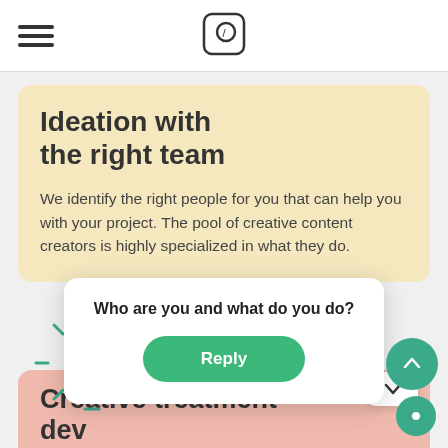Navigation bar with hamburger menu and logo icon
Ideation with the right team
We identify the right people for you that can help you with your project. The pool of creative content creators is highly specialized in what they do.
[Figure (illustration): Teal light bulb icon with rays, indicating an idea]
Creative treatment dev
You id... our team... on
Who are you and what do you do?
Reply